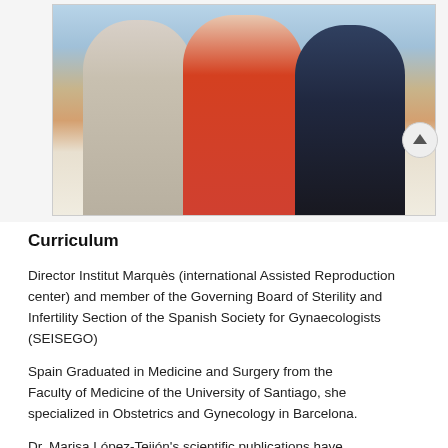[Figure (photo): Photo of three people posing together at a beach, two young men on either side of a blonde woman in a red outfit.]
Curriculum
Director Institut Marquès (international Assisted Reproduction center) and member of the Governing Board of Sterility and Infertility Section of the Spanish Society for Gynaecologists (SEISEGO)
Spain Graduated in Medicine and Surgery from the Faculty of Medicine of the University of Santiago, she specialized in Obstetrics and Gynecology in Barcelona.
Dr. Marisa López-Teijón's scientific publications have